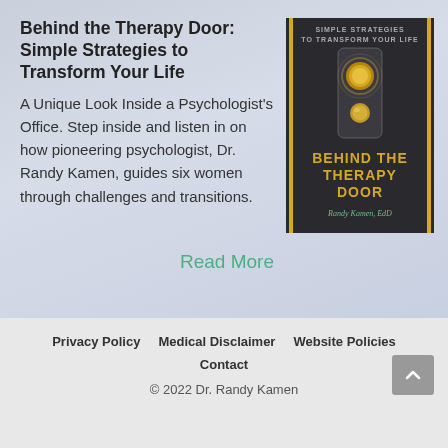Behind the Therapy Door: Simple Strategies to Transform Your Life
A Unique Look Inside a Psychologist's Office. Step inside and listen in on how pioneering psychologist, Dr. Randy Kamen, guides six women through challenges and transitions.
[Figure (illustration): Book cover of 'Behind the Therapy Door' by Randy Kamen, EdD. Dark background with a golden door knob and keyhole, yellow title text and green author name.]
Read More
Privacy Policy   Medical Disclaimer   Website Policies   Contact   © 2022 Dr. Randy Kamen